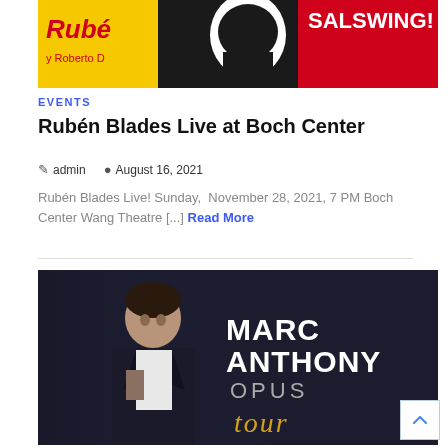[Figure (photo): Rubén Blades concert event banner with yellow, black and red design]
EVENTS
Rubén Blades Live at Boch Center
admin  August 16, 2021
Rubén Blades Live! Sunday,  November 28, 2021, 7 PM Boch Center Wang Theatre [...] Read More
[Figure (photo): Marc Anthony Opus Tour promotional banner with photo of Marc Anthony]